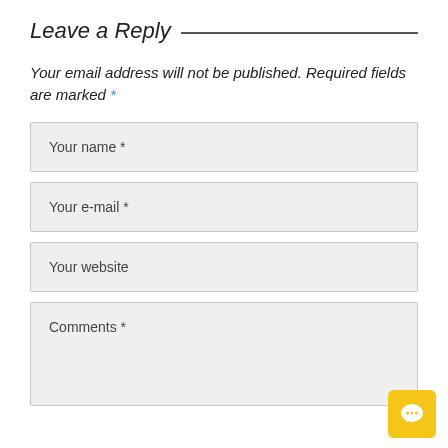Leave a Reply
Your email address will not be published. Required fields are marked *
Your name *
Your e-mail *
Your website
Comments *